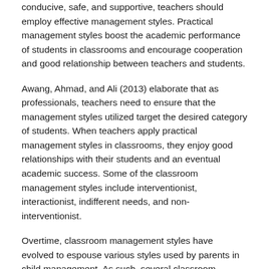conducive, safe, and supportive, teachers should employ effective management styles. Practical management styles boost the academic performance of students in classrooms and encourage cooperation and good relationship between teachers and students.
Awang, Ahmad, and Ali (2013) elaborate that as professionals, teachers need to ensure that the management styles utilized target the desired category of students. When teachers apply practical management styles in classrooms, they enjoy good relationships with their students and an eventual academic success. Some of the classroom management styles include interventionist, interactionist, indifferent needs, and non-interventionist.
Overtime, classroom management styles have evolved to espouse various styles used by parents in child management. As such, several classroom